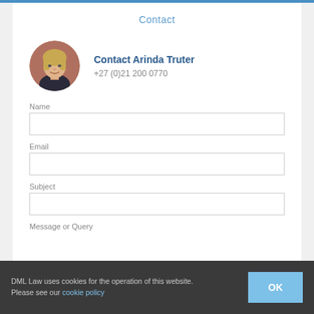Contact
[Figure (photo): Circular profile photo of Arinda Truter, a woman with blonde hair]
Contact Arinda Truter
+27 (0)21 200 0770
Name
Email
Subject
Message or Query
DML Law uses cookies for the operation of this website. Please see our cookie policy